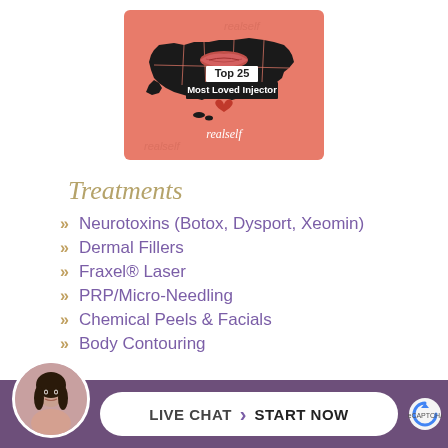[Figure (illustration): RealSelf Top 25 Most Loved Injector badge — salmon/coral background with black silhouette map of USA, lips graphic on map, red heart, text 'Top 25 Most Loved Injector' and 'realself' branding]
Treatments
Neurotoxins (Botox, Dysport, Xeomin)
Dermal Fillers
Fraxel® Laser
PRP/Micro-Needling
Chemical Peels & Facials
Body Contouring
[Figure (infographic): Bottom bar with purple background, circular avatar photo of a dark-haired woman, white pill-shaped button with text 'LIVE CHAT › START NOW', and reCAPTCHA icon]